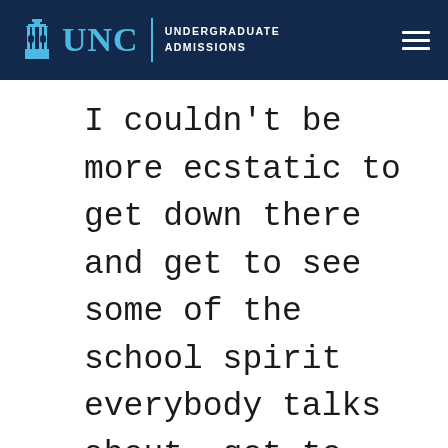UNC UNDERGRADUATE ADMISSIONS
I couldn't be more ecstatic to get down there and get to see some of the school spirit everybody talks about, get to try different things, get to